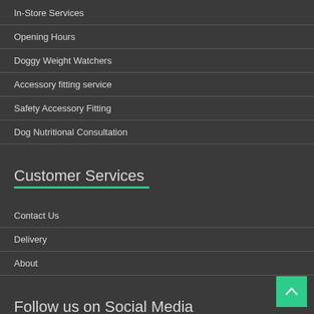In-Store Services
Opening Hours
Doggy Weight Watchers
Accessory fitting service
Safety Accessory Fitting
Dog Nutritional Consultation
Customer Services
Contact Us
Delivery
About
Follow us on Social Media